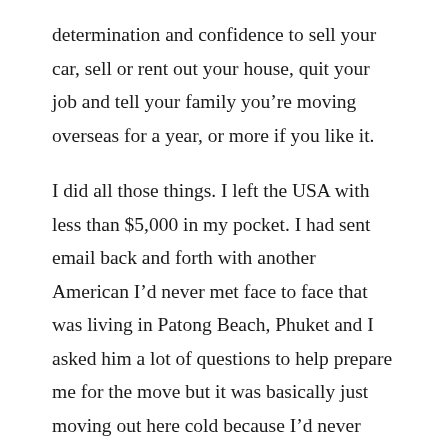determination and confidence to sell your car, sell or rent out your house, quit your job and tell your family you're moving overseas for a year, or more if you like it.
I did all those things. I left the USA with less than $5,000 in my pocket. I had sent email back and forth with another American I'd never met face to face that was living in Patong Beach, Phuket and I asked him a lot of questions to help prepare me for the move but it was basically just moving out here cold because I'd never been to Thailand before.
To be honest, I had been to South Korea once for a military training exercise for a few months. I had a slight idea about the culture shock I'd be facing. You may need a week or 10-day visit to the country you choose just to